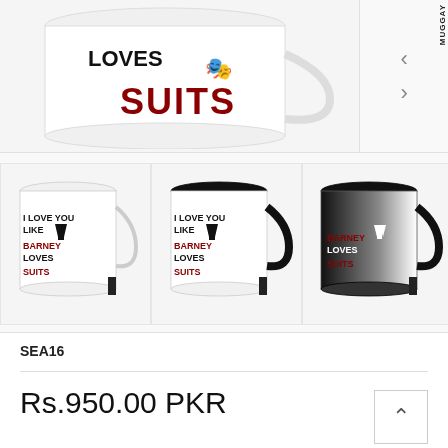[Figure (photo): Main product image showing a white mug with 'I LOVE YOU LIKE BARNEY LOVES SUITS' text and suit graphic, with navigation thumbnails on the right side including a MUGGAY watermark]
[Figure (photo): Three thumbnail images of the same mug product: white mug, black-handled mug, and fully black mug, all with 'I LOVE YOU LIKE BARNEY LOVES SUITS' design]
SEA16
Rs.950.00 PKR
Add KN95 Mask